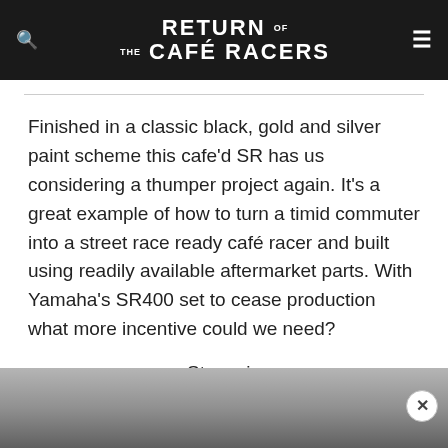RETURN OF THE CAFÉ RACERS
Finished in a classic black, gold and silver paint scheme this cafe'd SR has us considering a thumper project again. It's a great example of how to turn a timid commuter into a street race ready café racer and built using readily available aftermarket parts. With Yamaha's SR400 set to cease production what more incentive could we need?
Story via
SR400 TIMES
[Figure (photo): Bottom portion of a motorcycle photo visible at the bottom of the page, partially obscured, with a grey background and a circular close button on the right side.]